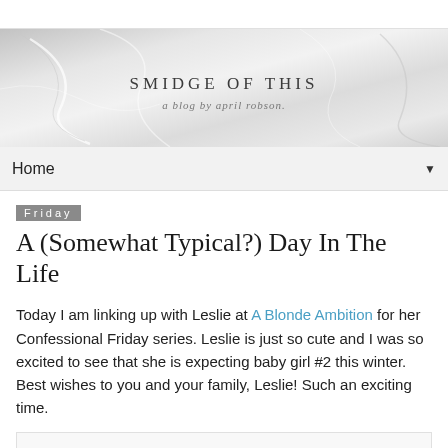[Figure (illustration): Blog banner with marble texture background. Text reads 'SMIDGE OF THIS' in spaced serif uppercase letters, with subtitle 'a blog by april robson.' in italic script below.]
Home ▼
Friday
A (Somewhat Typical?) Day In The Life
Today I am linking up with Leslie at A Blonde Ambition for her Confessional Friday series. Leslie is just so cute and I was so excited to see that she is expecting baby girl #2 this winter. Best wishes to you and your family, Leslie! Such an exciting time.